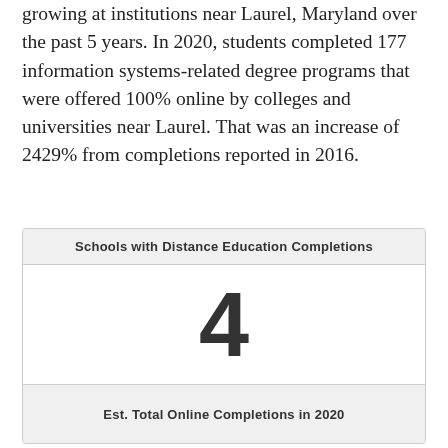growing at institutions near Laurel, Maryland over the past 5 years. In 2020, students completed 177 information systems-related degree programs that were offered 100% online by colleges and universities near Laurel. That was an increase of 2429% from completions reported in 2016.
[Figure (infographic): A card widget showing 'Schools with Distance Education Completions' as header label, a large number '4' in the center, and 'Est. Total Online Completions in 2020' as footer label.]